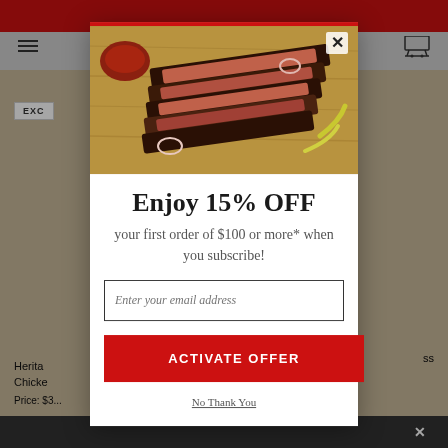[Figure (screenshot): Website background showing e-commerce page with red header bar, navigation hamburger menu and cart icon, product images of chicken and meat products on a wooden/gray background]
[Figure (photo): BBQ brisket food photo showing sliced smoked brisket on a cutting board with BBQ sauce, pickled peppers, and onions]
Enjoy 15% OFF
your first order of $100 or more* when you subscribe!
Enter your email address
ACTIVATE OFFER
No Thank You